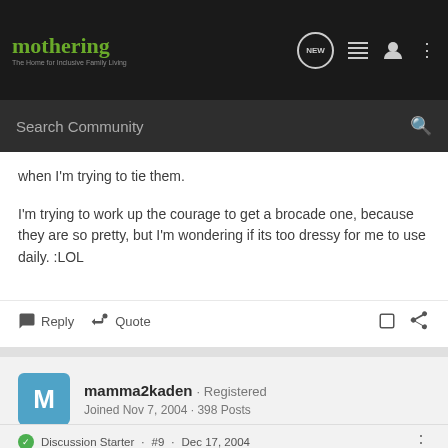mothering — The Home for Inclusive Family Living
when I'm trying to tie them.

I'm trying to work up the courage to get a brocade one, because they are so pretty, but I'm wondering if its too dressy for me to use daily. :LOL
Reply  Quote
mamma2kaden · Registered
Joined Nov 7, 2004 · 398 Posts
Discussion Starter · #9 · Dec 17, 2004